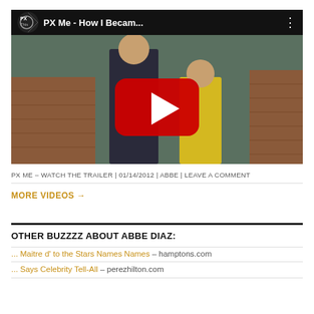[Figure (screenshot): YouTube video thumbnail for 'PX Me - How I Becam...' showing two people, one in a yellow dress and one in a dark jacket, with a red YouTube play button in the center and video title bar at the top]
PX ME – WATCH THE TRAILER | 01/14/2012 | ABBE | LEAVE A COMMENT
MORE VIDEOS →
OTHER BUZZZZ ABOUT ABBE DIAZ:
... Maitre d' to the Stars Names Names – hamptons.com
... Says Celebrity Tell-All – perezhilton.com